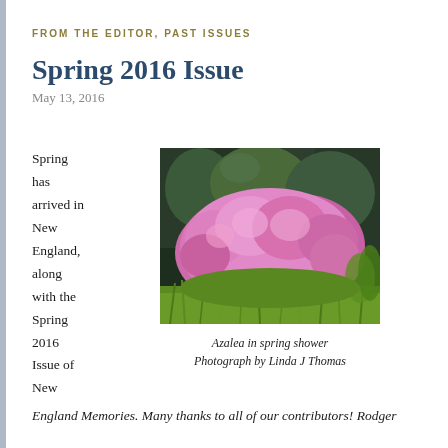FROM THE EDITOR, PAST ISSUES
Spring 2016 Issue
May 13, 2016
Spring has arrived in New England, along with the Spring 2016 Issue of New
[Figure (photo): A large blooming azalea bush covered in pink flowers, surrounded by green grass and foliage with dark trees in the background.]
Azalea in spring shower
Photograph by Linda J Thomas
England Memories. Many thanks to all of our contributors! Rodger